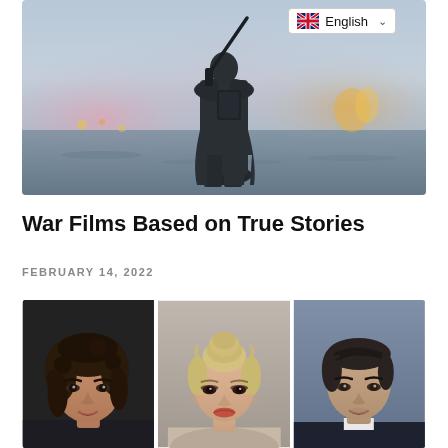[Figure (photo): Hero image: silhouette of a soldier with a rifle on their back, standing in misty water with pink and orange smoke/fire in the background — war film imagery]
War Films Based on True Stories
FEBRUARY 14, 2022
[Figure (photo): Three portrait photos side by side: a young man with curly dark hair, a blonde woman with hair up, and a dark-haired man — actors or celebrities]